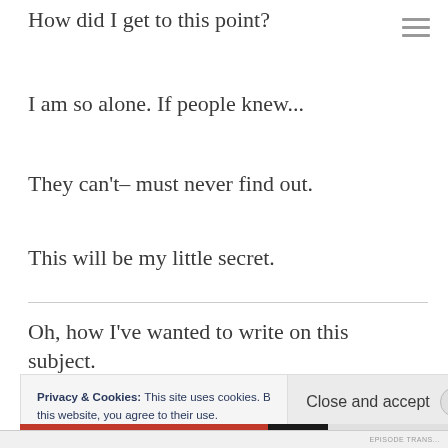How did I get to this point?
I am so alone. If people knew...
They can't– must never find out.
This will be my little secret.
Oh, how I've wanted to write on this subject.
Privacy & Cookies: This site uses cookies. By continuing to use this website, you agree to their use. To find out more, including how to control cookies, see here: Cookie Policy
Close and accept